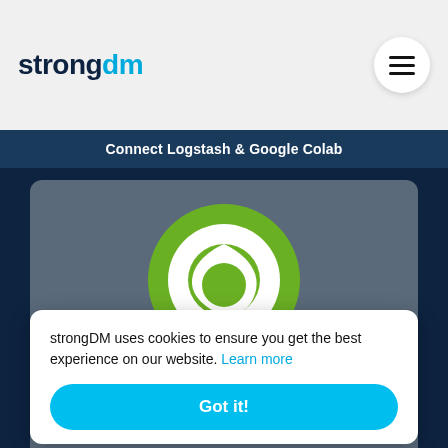[Figure (logo): strongDM logo — 'strong' in dark navy bold, 'dm' in cyan, with a stylized 'dm' letterform]
[Figure (other): Hamburger menu button — three horizontal lines inside a white circle]
Connect Logstash & Google Colab
[Figure (logo): Greenplum logo — green circle with a white stylized leaf/teardrop shape inside]
Connect Logstash & Greenplum
strongDM uses cookies to ensure you get the best experience on our website. Learn more
Got it!